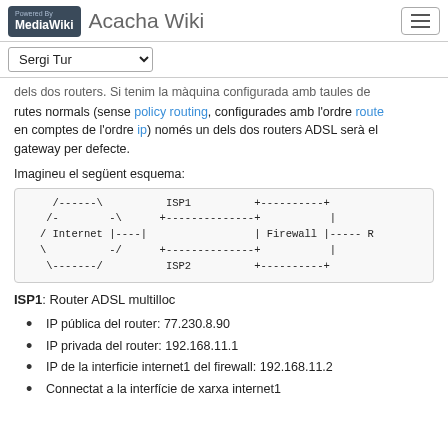Acacha Wiki
dels dos routers. Si tenim la màquina configurada amb taules de rutes normals (sense policy routing, configurades amb l'ordre route en comptes de l'ordre ip) només un dels dos routers ADSL serà el gateway per defecte.
Imagineu el següent esquema:
[Figure (schematic): ASCII art network diagram showing Internet cloud connected to ISP1 and ISP2, and a Firewall connected to right side labeled R]
ISP1: Router ADSL multilloc
IP pública del router: 77.230.8.90
IP privada del router: 192.168.11.1
IP de la interficie internet1 del firewall: 192.168.11.2
Connectat a la interfície de xarxa internet1